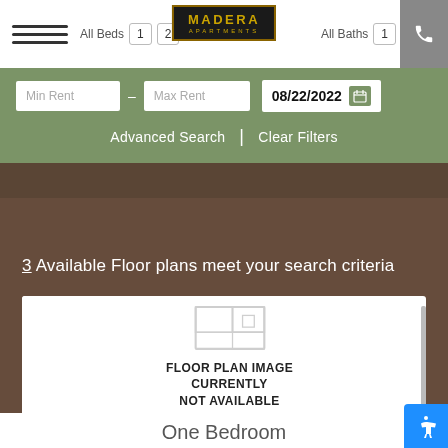All Beds | 1 | 2 | MADERA APARTMENTS | All Baths | 1
Min Rent – Max Rent | 08/22/2022
Advanced Search | Clear Filters
3 Available Floor plans meet your search criteria
[Figure (illustration): Floor plan placeholder image with text: FLOOR PLAN IMAGE CURRENTLY NOT AVAILABLE, and two green buttons (print and more options)]
One Bedroom